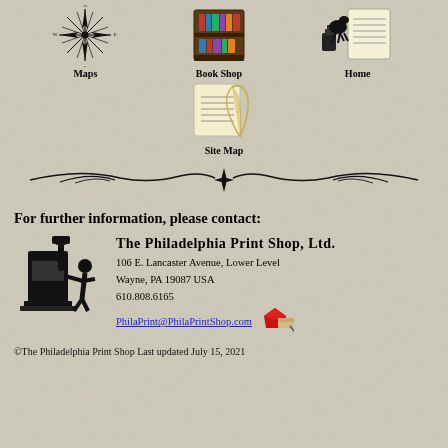[Figure (illustration): Navigation icons row: Maps (compass rose), Book Shop (bookshelf), Home (ink and document illustration)]
[Figure (illustration): Site Map navigation icon with quill and parchment]
[Figure (illustration): Decorative divider with wing-like flourishes and a central four-pointed star]
For further information, please contact:
[Figure (illustration): Black silhouette of a colonial-era printing press operator at work]
The Philadelphia Print Shop, Ltd.
106 E. Lancaster Avenue, Lower Level
Wayne, PA 19087 USA
610.808.6165
PhilaPrint@PhilaPrintShop.com
[Figure (illustration): Small email icon: red diamond with envelope/scroll]
©The Philadelphia Print Shop Last updated July 15, 2021